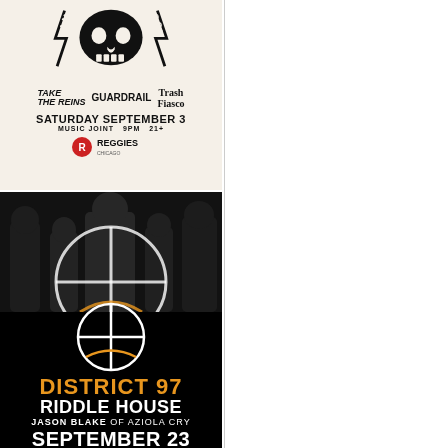[Figure (illustration): Concert poster for Americana Punk Rock show featuring Take The Reins, Guardrail, and Trash Fiasco at Reggies Music Joint. Saturday September 3, 9PM, 21+. Beige/cream background with skull graphic.]
[Figure (illustration): Concert poster for District 97, Riddle House, Jason Blake of Aziola Cry at Reggies Chicago. September 23, 2nd Floor, 7:30PM, 21+. Black background with band photo and orange/white text.]